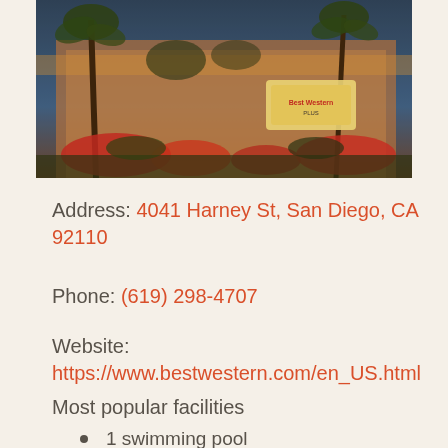[Figure (photo): Exterior photo of Best Western hotel at dusk, showing palm trees, red flowers, and the hotel sign illuminated]
Address: 4041 Harney St, San Diego, CA 92110
Phone: (619) 298-4707
Website: https://www.bestwestern.com/en_US.html
Most popular facilities
1 swimming pool
Non-smoking rooms